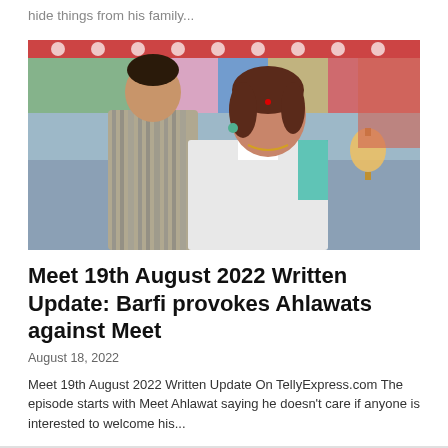hide things from his family...
[Figure (photo): Two actors from an Indian TV serial — a man in striped shirt in the background and a woman in white shirt in the foreground, with colorful decorations in the background.]
Meet 19th August 2022 Written Update: Barfi provokes Ahlawats against Meet
August 18, 2022
Meet 19th August 2022 Written Update On TellyExpress.com The episode starts with Meet Ahlawat saying he doesn't care if anyone is interested to welcome his...